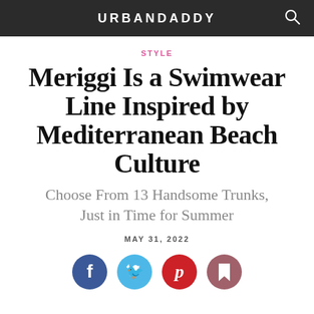URBANDADDY
STYLE
Meriggi Is a Swimwear Line Inspired by Mediterranean Beach Culture
Choose From 13 Handsome Trunks, Just in Time for Summer
MAY 31, 2022
[Figure (infographic): Social sharing icons: Facebook (blue), Twitter (light blue), Pinterest (red), Bookmark (mauve/dark pink)]